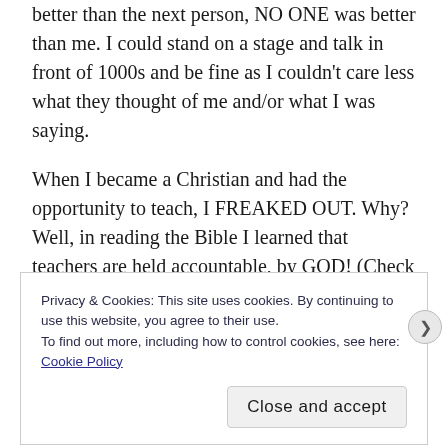better than the next person, NO ONE was better than me. I could stand on a stage and talk in front of 1000s and be fine as I couldn't care less what they thought of me and/or what I was saying.
When I became a Christian and had the opportunity to teach, I FREAKED OUT. Why? Well, in reading the Bible I learned that teachers are held accountable, by GOD! (Check out Paul's letters to Timothy).
As I learned more about abilities give at birth or
Privacy & Cookies: This site uses cookies. By continuing to use this website, you agree to their use.
To find out more, including how to control cookies, see here:
Cookie Policy
Close and accept